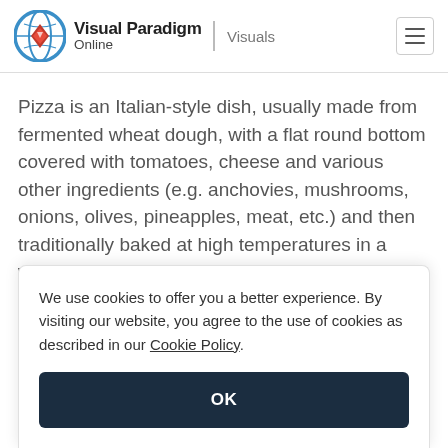Visual Paradigm Online | Visuals
Pizza is an Italian-style dish, usually made from fermented wheat dough, with a flat round bottom covered with tomatoes, cheese and various other ingredients (e.g. anchovies, mushrooms, onions, olives, pineapples, meat, etc.) and then traditionally baked at high temperatures in a wooden oven.
We use cookies to offer you a better experience. By visiting our website, you agree to the use of cookies as described in our Cookie Policy.